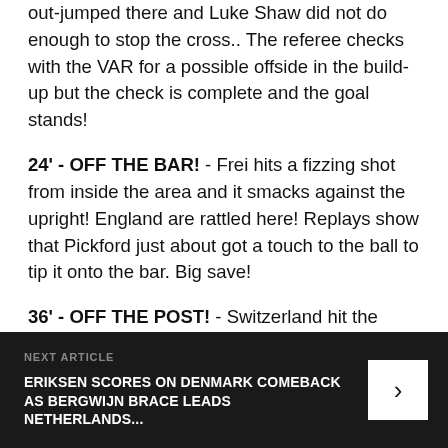out-jumped there and Luke Shaw did not do enough to stop the cross.. The referee checks with the VAR for a possible offside in the build-up but the check is complete and the goal stands!
24' - OFF THE BAR! - Frei hits a fizzing shot from inside the area and it smacks against the upright! England are rattled here! Replays show that Pickford just about got a touch to the ball to tip it onto the bar. Big save!
36' - OFF THE POST! - Switzerland hit the woodwork again! This time it was directly from a corner. Kane was guarding the near post but it made no difference as the ball cannons back off the frame of the goal! Gallagher hacks the ball clear very quickly but the danger is not
NEXT ARTICLE
ERIKSEN SCORES ON DENMARK COMEBACK AS BERGWIJN BRACE LEADS NETHERLANDS...